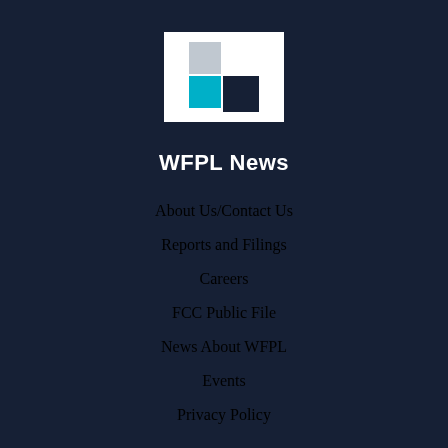[Figure (logo): WFPL News logo: white square background with colored square blocks arranged in a pattern — light gray top-left, teal bottom-left, dark navy bottom-right]
WFPL News
About Us/Contact Us
Reports and Filings
Careers
FCC Public File
News About WFPL
Events
Privacy Policy
Support